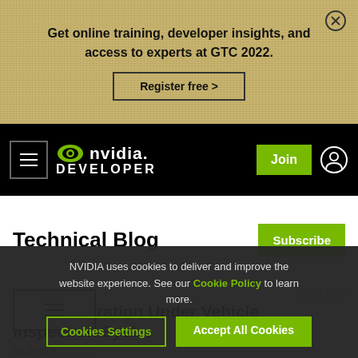Get online training, developer insights, and access to experts at GTC 2022.
Register free >
[Figure (logo): NVIDIA Developer logo with green eye icon and white text on black background]
Join
Technical Blog
Subscribe
NVIDIA uses cookies to deliver and improve the website experience. See our Cookie Policy to learn more.
Cookies Settings
Accept All Cookies
News
Jul 10, 2017
Next-Generation Under Vehicle Inspection Syst...
By Brad N...